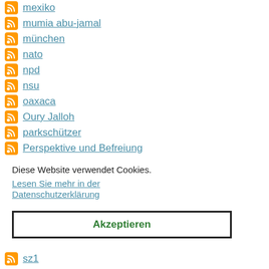mexiko
mumia abu-jamal
münchen
nato
npd
nsu
oaxaca
Oury Jalloh
parkschützer
Perspektive und Befreiung
Diese Website verwendet Cookies.
Lesen Sie mehr in der Datenschutzerklärung
Akzeptieren
sz1